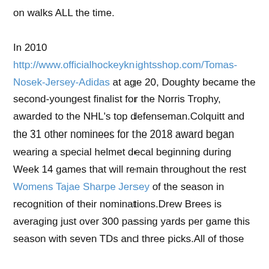on walks ALL the time.

In 2010 http://www.officialhockeyknightsshop.com/Tomas-Nosek-Jersey-Adidas at age 20, Doughty became the second-youngest finalist for the Norris Trophy, awarded to the NHL's top defenseman.Colquitt and the 31 other nominees for the 2018 award began wearing a special helmet decal beginning during Week 14 games that will remain throughout the rest Womens Tajae Sharpe Jersey of the season in recognition of their nominations.Drew Brees is averaging just over 300 passing yards per game this season with seven TDs and three picks.All of those